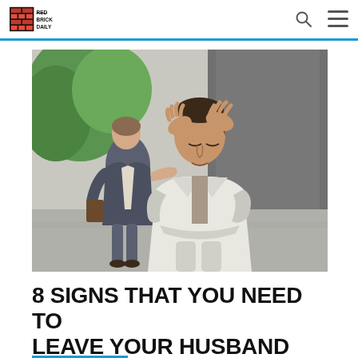Red Brick Daily
[Figure (photo): A distressed woman in a white blazer holding her head in her hands, with a man in a suit gesturing with open arms in the background, outdoors near a wall.]
8 SIGNS THAT YOU NEED TO LEAVE YOUR HUSBAND